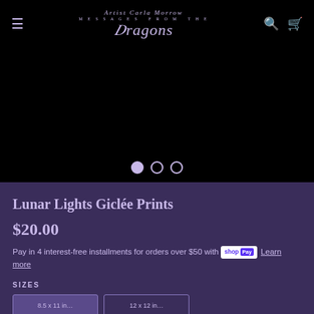Artist Carla Morrow — Messages from the Dragons
[Figure (screenshot): Black image area (product image carousel, currently blank/black) with three navigation dots below: one filled (active), two empty circles.]
Lunar Lights Giclée Prints
$20.00
Pay in 4 interest-free installments for orders over $50 with Shop Pay Learn more
SIZES
8.5 x 11 inches / 12 x 12 inches (partially visible)